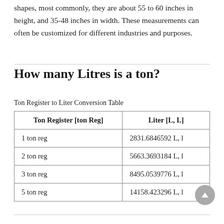shapes, most commonly, they are about 55 to 60 inches in height, and 35-48 inches in width. These measurements can often be customized for different industries and purposes.
How many Litres is a ton?
Ton Register to Liter Conversion Table
| Ton Register [ton Reg] | Liter [L, L] |
| --- | --- |
| 1 ton reg | 2831.6846592 L, l |
| 2 ton reg | 5663.3693184 L, l |
| 3 ton reg | 8495.0539776 L, l |
| 5 ton reg | 14158.423296 L, l |